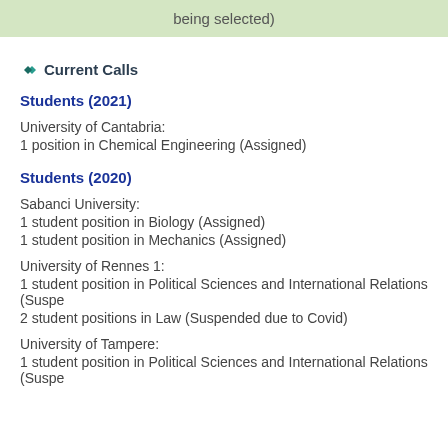being selected)
Current Calls
Students (2021)
University of Cantabria:
1 position in Chemical Engineering (Assigned)
Students (2020)
Sabanci University:
1 student position in Biology (Assigned)
1 student position in Mechanics (Assigned)
University of Rennes 1:
1 student position in Political Sciences and International Relations (Suspe
2 student positions in Law (Suspended due to Covid)
University of Tampere:
1 student position in Political Sciences and International Relations (Suspe